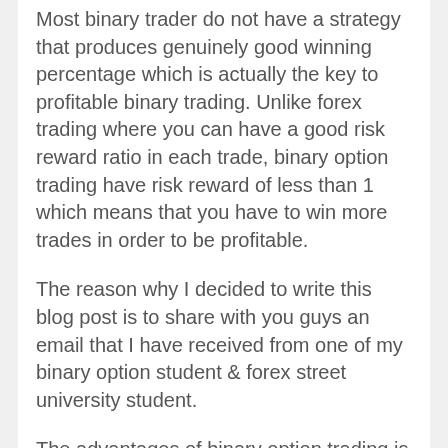Most binary trader do not have a strategy that produces genuinely good winning percentage which is actually the key to profitable binary trading. Unlike forex trading where you can have a good risk reward ratio in each trade, binary option trading have risk reward of less than 1 which means that you have to win more trades in order to be profitable.
The reason why I decided to write this blog post is to share with you guys an email that I have received from one of my binary option student & forex street university student.
The advantages of binary option trading is that it gives us quick profit and do not need to worry about where to place your stop loss or target profit. It is a great tool to complement